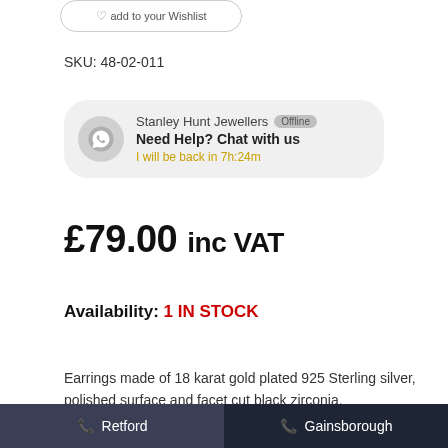[Figure (screenshot): Partially visible 'Add to your Wishlist' button at top of page]
SKU: 48-02-011
[Figure (other): Stanley Hunt Jewellers chat widget showing Offline badge, 'Need Help? Chat with us' and 'I will be back in 7h:24m']
£79.00 inc VAT
Availability: 1 IN STOCK
Earrings made of 18 karat gold plated 925 Sterling silver, polished surface and facet cut black zirconia.
Retford   Gainsborough